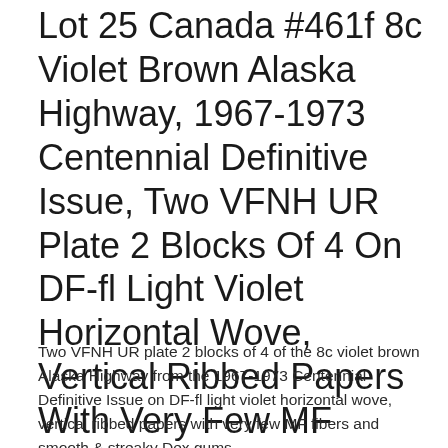Lot 25 Canada #461f 8c Violet Brown Alaska Highway, 1967-1973 Centennial Definitive Issue, Two VFNH UR Plate 2 Blocks Of 4 On DF-fl Light Violet Horizontal Wove, Vertical Ribbed Papers With Very Few MF Fibers, With Smooth & Streaky Dex Gums
Two VFNH UR plate 2 blocks of 4 of the 8c violet brown Alaska Highway from the 1967-1973 Centennial Definitive Issue on DF-fl light violet horizontal wove, vertical ribbed papers with very few MF fibers and smooth & streaky Dex gums